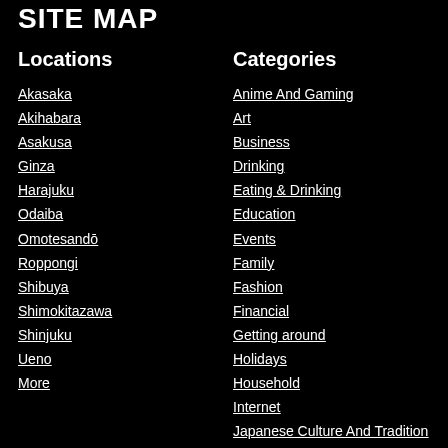SITE MAP
Locations
Akasaka
Akihabara
Asakusa
Ginza
Harajuku
Odaiba
Omotesandō
Roppongi
Shibuya
Shimokitazawa
Shinjuku
Ueno
More
Categories
Anime And Gaming
Art
Business
Drinking
Eating & Drinking
Education
Events
Family
Fashion
Financial
Getting around
Holidays
Household
Internet
Japanese Culture And Tradition
Lifestyle
Living